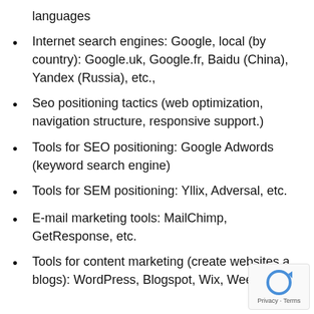languages
Internet search engines: Google, local (by country): Google.uk, Google.fr, Baidu (China), Yandex (Russia), etc.,
Seo positioning tactics (web optimization, navigation structure, responsive support.)
Tools for SEO positioning: Google Adwords (keyword search engine)
Tools for SEM positioning: Yllix, Adversal, etc.
E-mail marketing tools: MailChimp, GetResponse, etc.
Tools for content marketing (create websites and blogs): WordPress, Blogspot, Wix, Weebly, etc.